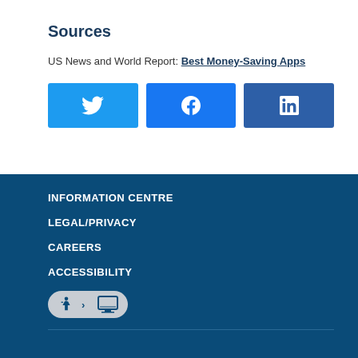Sources
US News and World Report: Best Money-Saving Apps
[Figure (other): Social media share buttons: Twitter (bird icon), Facebook (f icon), LinkedIn (in icon)]
INFORMATION CENTRE
LEGAL/PRIVACY
CAREERS
ACCESSIBILITY
[Figure (other): Accessibility icon with wheelchair symbol and computer symbol]
GROUP BENEFITS
INDIVIDUAL BENEFITS